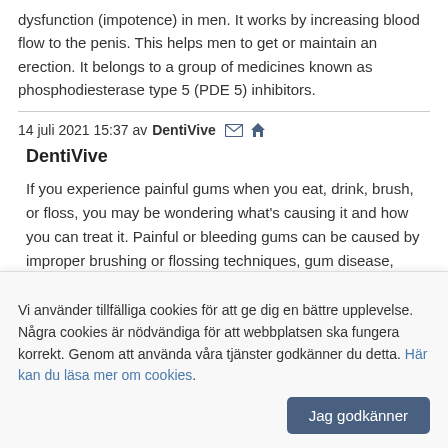dysfunction (impotence) in men. It works by increasing blood flow to the penis. This helps men to get or maintain an erection. It belongs to a group of medicines known as phosphodiesterase type 5 (PDE 5) inhibitors.
14 juli 2021 15:37 av DentiVive
DentiVive
If you experience painful gums when you eat, drink, brush, or floss, you may be wondering what's causing it and how you can treat it. Painful or bleeding gums can be caused by improper brushing or flossing techniques, gum disease, chemotherapy, tobacco use, or certain hormonal changes. It is very common for gum disease to lead to pain and bleeding, so resolving the problem is an important part of keeping your gums healthy. Your gums provide the overall support for your teeth
Vi använder tillfälliga cookies för att ge dig en bättre upplevelse. Några cookies är nödvändiga för att webbplatsen ska fungera korrekt. Genom att använda våra tjänster godkänner du detta. Här kan du läsa mer om cookies.
Jag godkänner